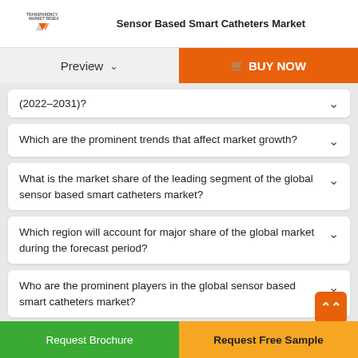Sensor Based Smart Catheters Market
Preview
BUY NOW
(2022–2031)?
Which are the prominent trends that affect market growth?
What is the market share of the leading segment of the global sensor based smart catheters market?
Which region will account for major share of the global market during the forecast period?
Who are the prominent players in the global sensor based smart catheters market?
Request Brochure
Request Free Sample